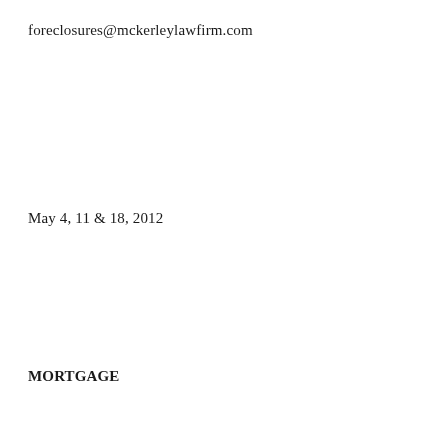foreclosures@mckerleylawfirm.com
May 4, 11 & 18, 2012
MORTGAGE